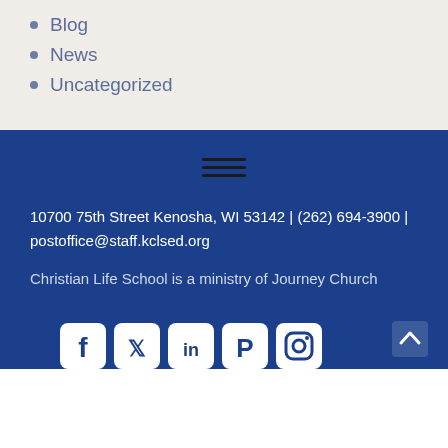Blog
News
Uncategorized
[Figure (other): Hamburger menu icon with three horizontal dark lines]
10700 75th Street Kenosha, WI 53142 | (262) 694-3900 | postoffice@staff.kclsed.org
Christian Life School is a ministry of Journey Church
[Figure (other): Social media icons: Facebook, Twitter, LinkedIn, Pinterest, Instagram]
[Figure (other): Back to top arrow button]